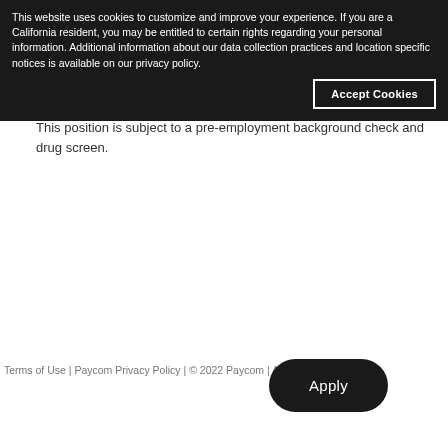This website uses cookies to customize and improve your experience. If you are a California resident, you may be entitled to certain rights regarding your personal information. Additional information about our data collection practices and location specific notices is available on our privacy policy.
Accept Cookies
This position is subject to a pre-employment background check and drug screen.
Terms of Use | Paycom Privacy Policy | © 2022 Paycom | All Rights Reserved.
Apply